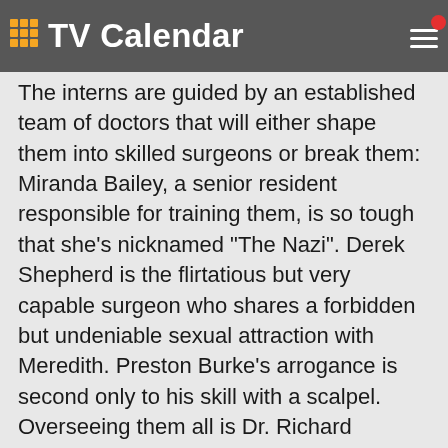TV Calendar
The interns are guided by an established team of doctors that will either shape them into skilled surgeons or break them: Miranda Bailey, a senior resident responsible for training them, is so tough that she's nicknamed "The Nazi". Derek Shepherd is the flirtatious but very capable surgeon who shares a forbidden but undeniable sexual attraction with Meredith. Preston Burke's arrogance is second only to his skill with a scalpel. Overseeing them all is Dr. Richard Webber, Seattle Grace's paternal, but no-nonsense chief of surgery.
Grey's Anatomy focuses on young people struggling to be doctors and doctors struggling to stay human. It's the drama and intensity of medical training mixed with the funny, sexy, painful lives of interns who are about to discover that neither medicine nor relationships can be defined in black and white. Real life only comes in shades of grey.